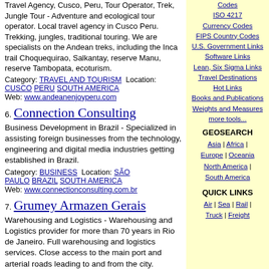Travel Agency, Cusco, Peru, Tour Operator, Trek, Jungle Tour - Adventure and ecological tour operator. Local travel agency in Cusco Peru. Trekking, jungles, traditional touring. We are specialists on the Andean treks, including the Inca trail Choquequirao, Salkantay, reserve Manu, reserve Tambopata, ecoturism.
Category: TRAVEL AND TOURISM  Location: CUSCO  PERU  SOUTH AMERICA
Web: www.andeanenjoyperu.com
6. Connection Consulting
Business Development in Brazil - Specialized in assisting foreign businesses from the technology, engineering and digital media industries getting established in Brazil.
Category: BUSINESS  Location: SÃO PAULO  BRAZIL  SOUTH AMERICA
Web: www.connectionconsulting.com.br
7. Grumey Armazen Gerais
Warehousing and Logistics - Warehousing and Logistics provider for more than 70 years in Rio de Janeiro. Full warehousing and logistics services. Close access to the main port and arterial roads leading to and from the city.
Category: WAREHOUSING  Location: RIO DE JANEIRO  BRAZIL  SOUTH AMERICA
Web: www.grumey.com.br
8. Inca Trail Peru
Inca Trail to Machu Picchu - Official travel agency and Authorized specialist. Authorized by the Tourism...
Codes ISO 4217 Currency Codes FIPS Country Codes U.S. Government Links Software Links Lean, Six Sigma Links Travel Destinations Hot Links Books and Publications Weights and Measures more tools...
GEOSEARCH
Asia | Africa | Europe | Oceania North America | South America
QUICK LINKS
Air | Sea | Rail | Truck | Freight